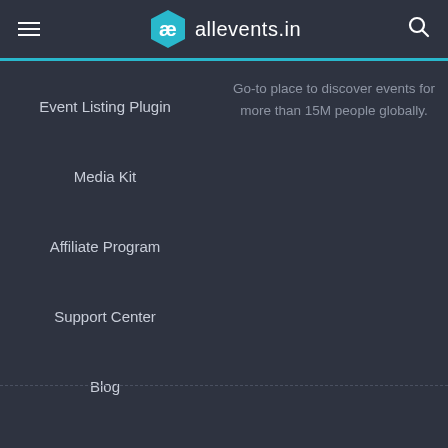allevents.in
Event Listing Plugin
Media Kit
Affiliate Program
Support Center
Blog
Go-to place to discover events for more than 15M people globally.